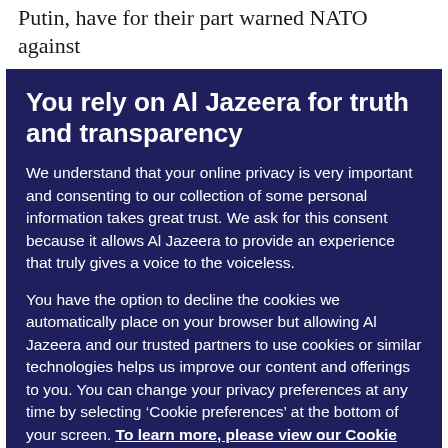Putin, have for their part warned NATO against
You rely on Al Jazeera for truth and transparency
We understand that your online privacy is very important and consenting to our collection of some personal information takes great trust. We ask for this consent because it allows Al Jazeera to provide an experience that truly gives a voice to the voiceless.
You have the option to decline the cookies we automatically place on your browser but allowing Al Jazeera and our trusted partners to use cookies or similar technologies helps us improve our content and offerings to you. You can change your privacy preferences at any time by selecting ‘Cookie preferences’ at the bottom of your screen. To learn more, please view our Cookie Policy.